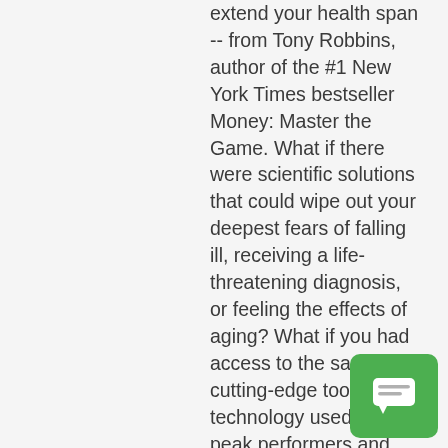extend your health span -- from Tony Robbins, author of the #1 New York Times bestseller Money: Master the Game. What if there were scientific solutions that could wipe out your deepest fears of falling ill, receiving a life-threatening diagnosis, or feeling the effects of aging? What if you had access to the same cutting-edge tools and technology used by peak performers and the world's greatest athletes? In a wor of fear and uncert
[Figure (other): Green rounded chat/message button icon in bottom-right corner]